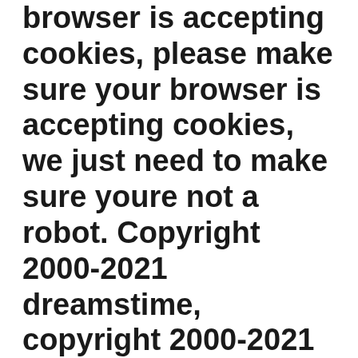browser is accepting cookies, please make sure your browser is accepting cookies, we just need to make sure youre not a robot. Copyright 2000-2021 dreamstime, copyright 2000-2021 dreamstime, copyright 2000-2021 dreamstime. Copyright 2000-2021 dreamstime, copyright 2000-2021 dreamstime, we just need to